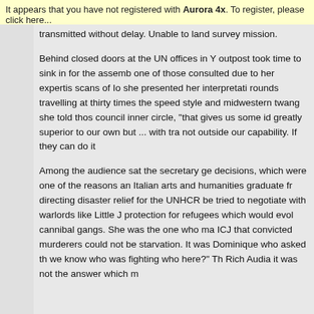It appears that you have not registered with Aurora 4x. To register, please click here...
transmitted without delay. Unable to land survey mission.
Behind closed doors at the UN offices in Y outpost took time to sink in for the assemb one of those consulted due to her expertis scans of Io she presented her interpretati rounds travelling at thirty times the speed style and midwestern twang she told thos council inner circle, "that gives us some id greatly superior to our own but ... with tra not outside our capability. If they can do it
Among the audience sat the secretary ge decisions, which were one of the reasons an Italian arts and humanities graduate fr directing disaster relief for the UNHCR be tried to negotiate with warlords like Little J protection for refugees which would evol cannibal gangs. She was the one who ma ICJ that convicted murderers could not be starvation. It was Dominique who asked th we know who was fighting who here?" Th Rich Audia it was not the answer which m